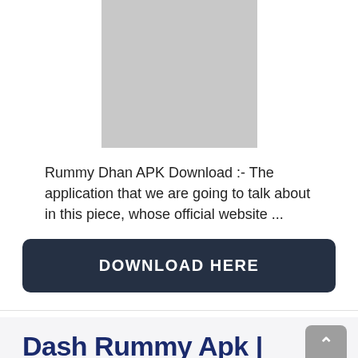[Figure (other): Gray placeholder image rectangle]
Rummy Dhan APK Download :- The application that we are going to talk about in this piece, whose official website ...
DOWNLOAD HERE
Dash Rummy Apk | Rummy Dash App | Dash Slots APK |